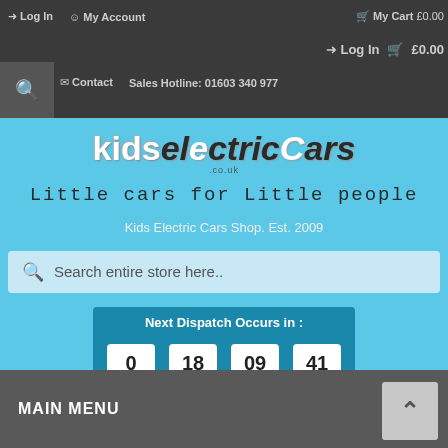Log In  My Account  My Cart £0.00  Log In  £0.00  Contact  Sales Hotline: 01603 340 977
[Figure (logo): kidselectriccars.co.uk logo with tagline 'Little cars for Little people']
Kids Electric Cars Shop. Est. 2009
Search entire store here..
Next Dispatch Occurs in :  0 Days  18 Hours  09 Minutes  41 Seconds
MAIN MENU